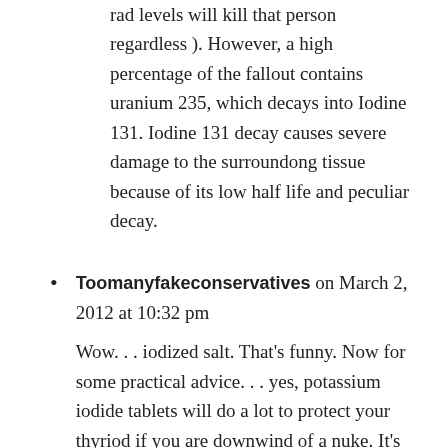rad levels will kill that person regardless). However, a high percentage of the fallout contains uranium 235, which decays into Iodine 131. Iodine 131 decay causes severe damage to the surroundong tissue because of its low half life and peculiar decay.
Toomanyfakeconservatives on March 2, 2012 at 10:32 pm

Wow... iodized salt. That's funny. Now for some practical advice... yes, potassium iodide tablets will do a lot to protect your thyriod if you are downwind of a nuke. It's also easy to overdo it with these tablets and you'll be swimming in iodine and tasting it for weeks.

Why not buy some of the reasonably priced